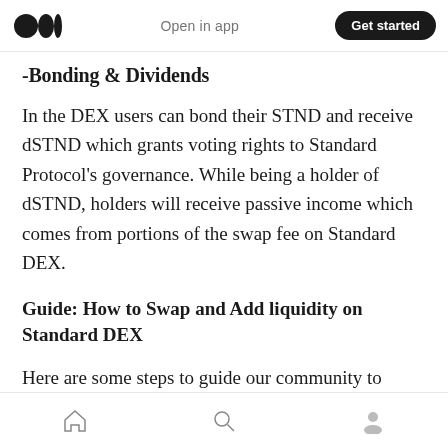Open in app | Get started
-Bonding & Dividends
In the DEX users can bond their STND and receive dSTND which grants voting rights to Standard Protocol's governance. While being a holder of dSTND, holders will receive passive income which comes from portions of the swap fee on Standard DEX.
Guide: How to Swap and Add liquidity on Standard DEX
Here are some steps to guide our community to
home | search | profile